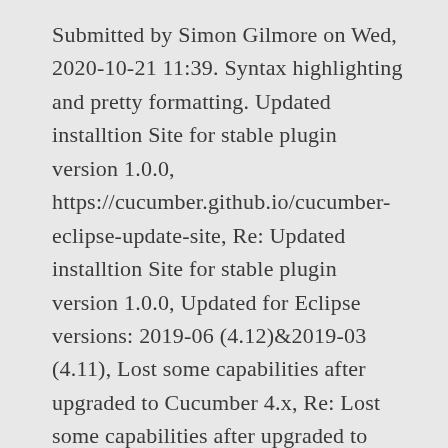Submitted by Simon Gilmore on Wed, 2020-10-21 11:39. Syntax highlighting and pretty formatting. Updated installtion Site for stable plugin version 1.0.0, https://cucumber.github.io/cucumber-eclipse-update-site, Re: Updated installtion Site for stable plugin version 1.0.0, Updated for Eclipse versions: 2019-06 (4.12)&2019-03 (4.11), Lost some capabilities after upgraded to Cucumber 4.x, Re: Lost some capabilities after upgraded to Cucumber 4.x, Business Intelligence, Reporting and Charting (14), Web, XML, Java EE and OSGi Enterprise Development (35), Updated the plugin's installation site with. Now there is no green arrow and (worse) no steps